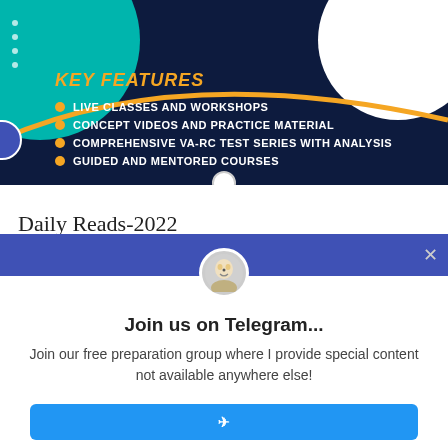[Figure (infographic): Dark navy banner with teal circle, white circle, gold arc, and KEY FEATURES section listing: LIVE CLASSES AND WORKSHOPS, CONCEPT VIDEOS AND PRACTICE MATERIAL, COMPREHENSIVE VA-RC TEST SERIES WITH ANALYSIS, GUIDED AND MENTORED COURSES]
Daily Reads-2022
Free Daily Reads 2022: Article 365
Free Daily Reads 2022: Article 364
[Figure (infographic): Telegram popup overlay with blue header bar, avatar icon, close button, title 'Join us on Telegram...', body text 'Join our free preparation group where I provide special content not available anywhere else!', and a blue button partially visible at bottom.]